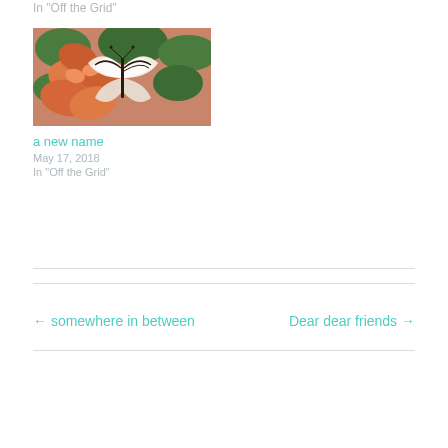In "Off the Grid"
[Figure (photo): A butterfly with black and white striped wings resting on orange flowers with green foliage in background]
a new name
May 17, 2018
In "Off the Grid"
← somewhere in between
Dear dear friends →